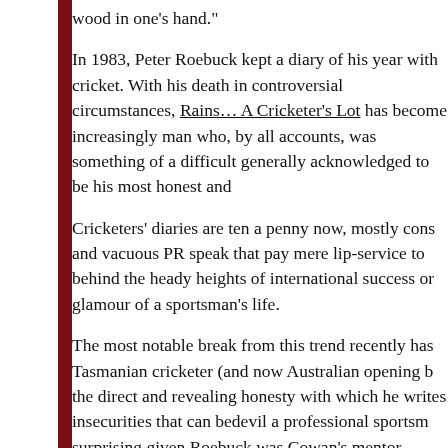wood in one's hand."
In 1983, Peter Roebuck kept a diary of his year with cricket. With his death in controversial circumstances, Rains… A Cricketer's Lot has become increasingly man who, by all accounts, was something of a difficult generally acknowledged to be his most honest and
Cricketers' diaries are ten a penny now, mostly consisting and vacuous PR speak that pay mere lip-service to behind the heady heights of international success or glamour of a sportsman's life.
The most notable break from this trend recently has Tasmanian cricketer (and now Australian opening b the direct and revealing honesty with which he writes insecurities that can bedevil a professional sportsman surprising given Roebuck was Cowan's mentor.
I was never the biggest fan of Peter Roebuck's cricket seemed skewed either by the grudge he bore again